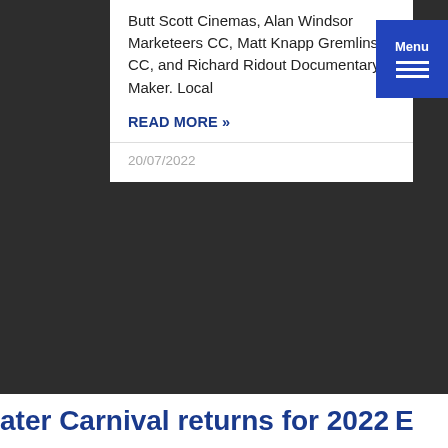Butt Scott Cinemas, Alan Windsor Marketeers CC, Matt Knapp Gremlins CC, and Richard Ridout Documentary Maker. Local
READ MORE »
20/07/2022
We use cookies on our website to give you the most relevant experience by remembering your preferences and repeat visits. By clicking "Accept All", you consent to the use of ALL the cookies. However, you may visit "Cookie Settings" to provide a controlled consent.
Cookie Settings
Accept All
aining
NG
idgwater
Guy
aunton
ater Carnival returns for 2022